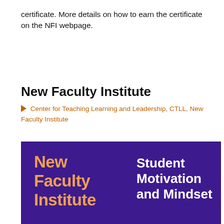certificate. More details on how to earn the certificate on the NFI webpage.
New Faculty Institute
🏷 Center for Teaching Learning and Leadership, CTLL, New Faculty Institute
[Figure (illustration): Purple banner with orange text 'New Faculty Institute' on the left and white text 'Student Motivation and Mindset' on the right]